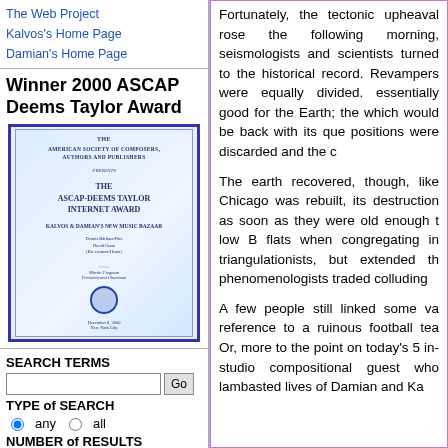The Web Project
Kalvos's Home Page
Damian's Home Page
Winner 2000 ASCAP Deems Taylor Award
[Figure (photo): ASCAP-Deems Taylor Internet Award certificate presented to Kalvos & Damian's New Music Bazaar, signed by the President and Chairman, dated December 6, 2000, New York City.]
SEARCH TERMS
TYPE of SEARCH
NUMBER of RESULTS
Search by WrenSoft
Subscribe to K&D
XML
Fortunately, the tectonic upheaval rose the following morning, seismologists and scientists turned to the historical record. Revampers were equally divided. essentially good for the Earth; the which would be back with its que positions were discarded and the c
The earth recovered, though, like Chicago was rebuilt, its destruction as soon as they were old enough t low B flats when congregating in triangulationists, but extended th phenomenologists traded colluding
A few people still linked some va reference to a ruinous football tea Or, more to the point on today's 5 in-studio compositional guest who lambasted lives of Damian and Ka